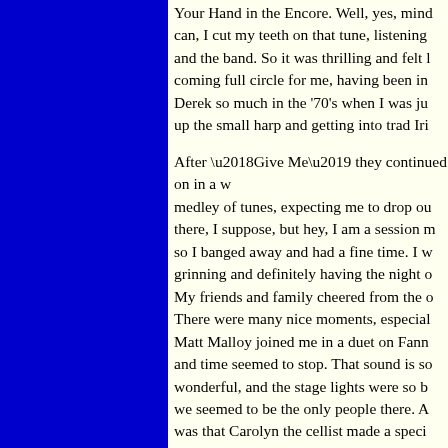Your Hand in the Encore. Well, yes, mind can, I cut my teeth on that tune, listening and the band. So it was thrilling and felt li coming full circle for me, having been in Derek so much in the '70's when I was ju up the small harp and getting into trad Iri
After ‘Give Me’ they continued on in a w medley of tunes, expecting me to drop ou there, I suppose, but hey, I am a session m so I banged away and had a fine time. I w grinning and definitely having the night o My friends and family cheered from the o There were many nice moments, especial Matt Malloy joined me in a duet on Fann and time seemed to stop. That sound is so wonderful, and the stage lights were so b we seemed to be the only people there. A was that Carolyn the cellist made a speci put me at ease on stage.
I had assumed that the harp medley woul tribute to Derek, but it wasn't. The cellist wonderful air as the official tribute.
Backstage, there were no rooms for me to